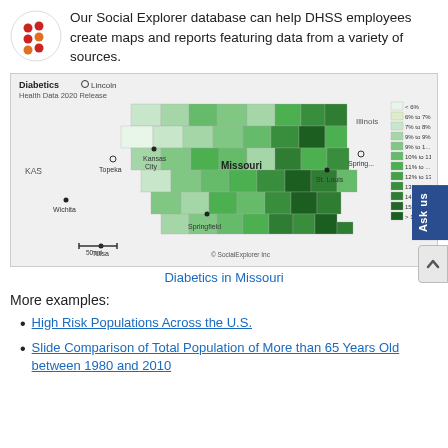[Figure (logo): Social Explorer logo with colored dots in a circle]
Our Social Explorer database can help DHSS employees create maps and reports featuring data from a variety of sources.
[Figure (map): Choropleth map of Diabetics in Missouri by county, showing shades of green from light (<6%) to dark (>17%). Neighboring states Kansas, Illinois shown. Cities labeled: Topeka, Kansas City, Missouri, St. Louis, Wichita, Springfield, Tulsa, Lincoln, Springfield (IL). Legend shows ranges: <6%, 6% to 7%, 7% to 8%, 9% to 9%, 9% to 10%, 10% to 11%, 11% to 12%, 12% to 13%, 13% to 14%, 14% to 15%, 15% to 17%, >17%. Source: Health Data 2020 Release. © SocialExplorer Inc.]
Diabetics in Missouri
More examples:
High Risk Populations Across the U.S.
Slide Comparison of Total Population of More than 65 Years Old between 1980 and 2010